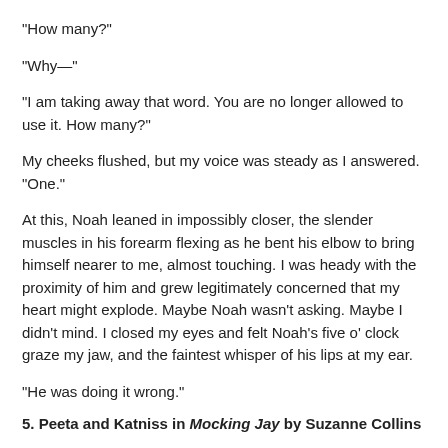"How many?"
"Why—"
"I am taking away that word. You are no longer allowed to use it. How many?"
My cheeks flushed, but my voice was steady as I answered. "One."
At this, Noah leaned in impossibly closer, the slender muscles in his forearm flexing as he bent his elbow to bring himself nearer to me, almost touching. I was heady with the proximity of him and grew legitimately concerned that my heart might explode. Maybe Noah wasn't asking. Maybe I didn't mind. I closed my eyes and felt Noah's five o' clock graze my jaw, and the faintest whisper of his lips at my ear.
"He was doing it wrong."
5. Peeta and Katniss in Mocking Jay by Suzanne Collins